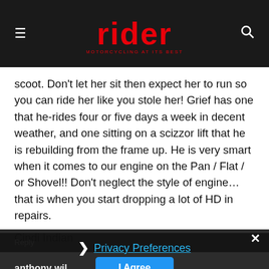rider — MOTORCYCLING AT ITS BEST
scoot. Don't let her sit then expect her to run so you can ride her like you stole her! Grief has one that he-rides four or five days a week in decent weather, and one sitting on a scizzor lift that he is rebuilding from the frame up. He is very smart when it comes to our engine on the Pan / Flat / or Shovel!! Don't neglect the style of engine…that is when you start dropping a lot of HD in repairs.
Cindi Indian
Reply
Privacy Preferences
I Agree
anthony wil...
October 12, 2018 At...
You could...